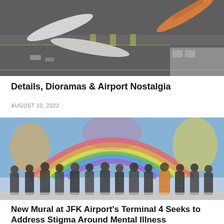[Figure (photo): Aerial view of model airplanes and airport diorama on a dark tarmac surface, with an orange aircraft visible at top right.]
Details, Dioramas & Airport Nostalgia
AUGUST 10, 2022
[Figure (photo): Group of people standing in front of a colorful mural featuring a rainbow and bright abstract figures at JFK Airport Terminal 4.]
New Mural at JFK Airport's Terminal 4 Seeks to Address Stigma Around Mental Illness